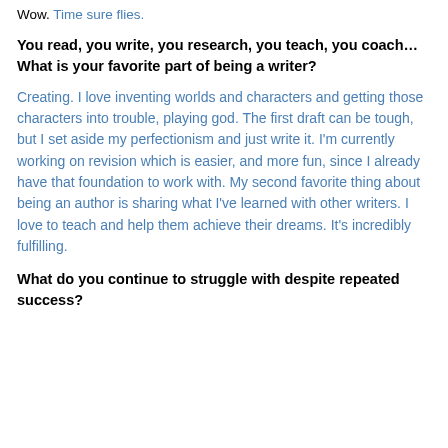Wow. Time sure flies.
You read, you write, you research, you teach, you coach…What is your favorite part of being a writer?
Creating. I love inventing worlds and characters and getting those characters into trouble, playing god. The first draft can be tough, but I set aside my perfectionism and just write it. I'm currently working on revision which is easier, and more fun, since I already have that foundation to work with. My second favorite thing about being an author is sharing what I've learned with other writers. I love to teach and help them achieve their dreams. It's incredibly fulfilling.
What do you continue to struggle with despite repeated success?